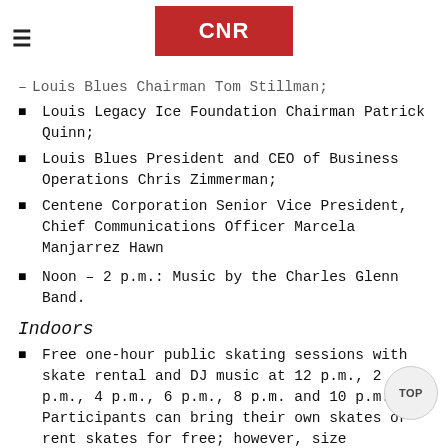CNR logo header
Louis Blues Chairman Tom Stillman;
Louis Legacy Ice Foundation Chairman Patrick Quinn;
Louis Blues President and CEO of Business Operations Chris Zimmerman;
Centene Corporation Senior Vice President, Chief Communications Officer Marcela Manjarrez Hawn
Noon – 2 p.m.: Music by the Charles Glenn Band.
Indoors
Free one-hour public skating sessions with skate rental and DJ music at 12 p.m., 2 p.m., 4 p.m., 6 p.m., 8 p.m. and 10 p.m. Participants can bring their own skates or rent skates for free; however, size availability is limited.
Hockey games featuring Blues Sled Hockey at 3:30 p.m., Blues Blind Hockey Game at 4:10 p.m., St. Louis Blues Special Hockey at 4:50 p.m., Celebrity/Coaches Hockey Game at 5:45 p.m., Roller at Zim Martinez at 7:45 p.m.